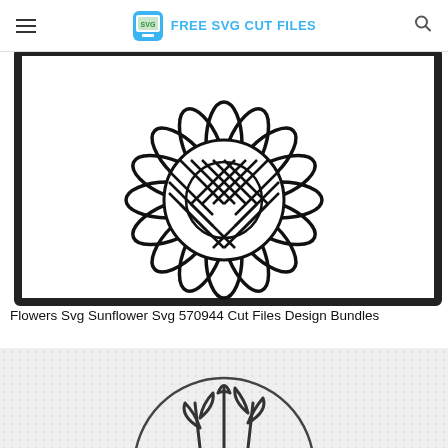FREE SVG CUT FILES
[Figure (illustration): Sunflower SVG cut file design showing a black and white outline of a sunflower with geometric diamond pattern center and multiple petals, framed with a black border]
Flowers Svg Sunflower Svg 570944 Cut Files Design Bundles
[Figure (illustration): Second SVG illustration on gray checkered background showing a circular outline with plant/leaf motif inside, partially visible]